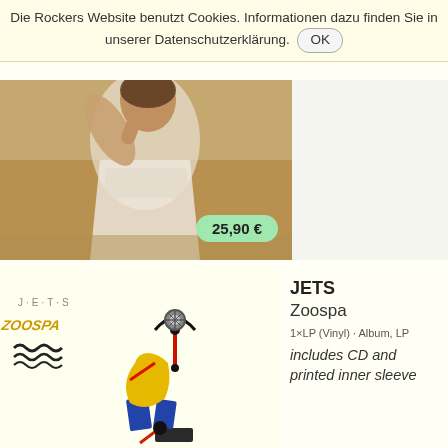Die Rockers Website benutzt Cookies. Informationen dazu finden Sie in unserer Datenschutzerklärung. OK
[Figure (photo): Woman sitting outdoors in white top, product image with price badge showing 25,90 €]
[Figure (illustration): JETS Zoospa album art showing abstract geometric figure (Calder-style mobile/sculpture in yellow, blue, red) with JETS logo and Zoospa text on cream background]
JETS
Zoospa
1×LP (Vinyl) · Album, LP
includes CD and printed inner sleeve